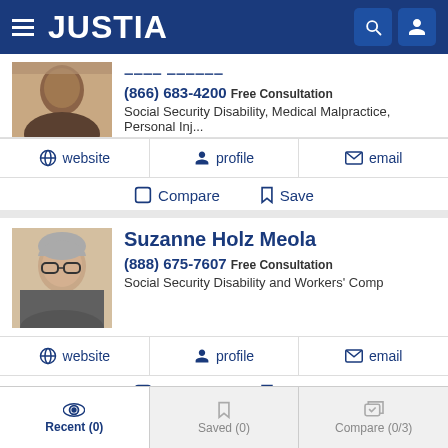JUSTIA
[Figure (photo): Partial lawyer profile photo (man in suit, cropped)]
(866) 683-4200 Free Consultation
Social Security Disability, Medical Malpractice, Personal Inj...
website  profile  email
Compare  Save
[Figure (photo): Suzanne Holz Meola profile photo (woman with glasses, gray hair)]
Suzanne Holz Meola
(888) 675-7607 Free Consultation
Social Security Disability and Workers' Comp
website  profile  email
Compare  Save
Recent (0)  Saved (0)  Compare (0/3)